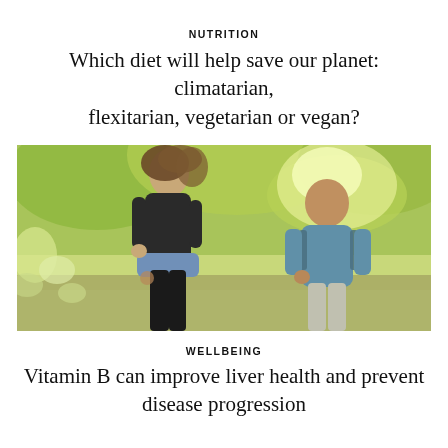NUTRITION
Which diet will help save our planet: climatarian, flexitarian, vegetarian or vegan?
[Figure (photo): Two people walking outdoors in a lush green forest, a woman in black top with a denim jacket tied around her waist and a man in a blue t-shirt with a backpack, sunlight filtering through the trees.]
WELLBEING
Vitamin B can improve liver health and prevent disease progression